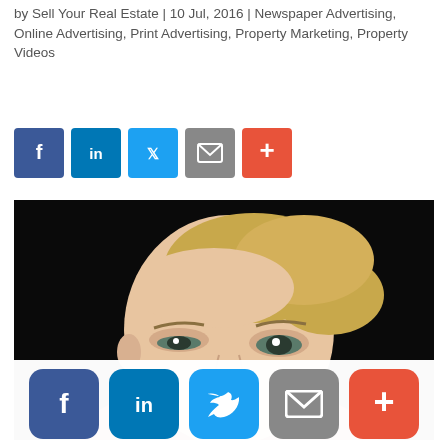by Sell Your Real Estate | 10 Jul, 2016 | Newspaper Advertising, Online Advertising, Print Advertising, Property Marketing, Property Videos
[Figure (other): Row of five social share buttons: Facebook (dark blue), LinkedIn (blue), Twitter (light blue), Email (grey), More/Plus (orange-red)]
[Figure (photo): Close-up photo of a blonde woman with a skeptical or questioning expression, wearing a red top, against a black background]
[Figure (other): Bottom sticky bar with five large rounded social share buttons: Facebook (dark blue), LinkedIn (blue), Twitter (light blue), Email (grey), More/Plus (orange-red)]